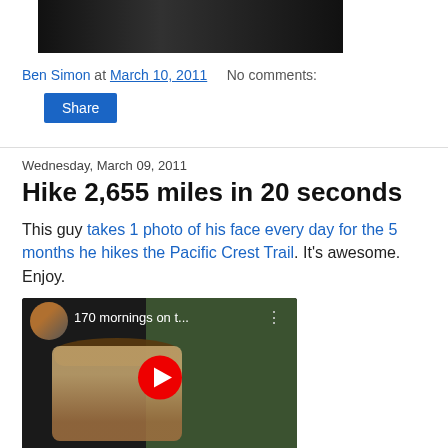[Figure (photo): Black and white photo of a crowd or protest scene, partially visible at top of page]
Ben Simon at March 10, 2011    No comments:
Share
Wednesday, March 09, 2011
Hike 2,655 miles in 20 seconds
This guy takes 1 photo of his face every day for the 5 months he hikes the Pacific Crest Trail. It's awesome. Enjoy.
[Figure (screenshot): YouTube video thumbnail showing '170 mornings on t...' with a person's face and red play button]